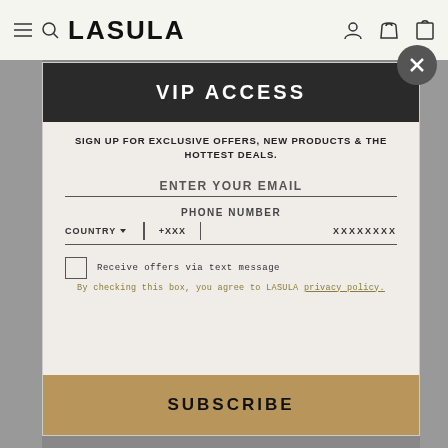LASULA
VIP ACCESS
SIGN UP FOR EXCLUSIVE OFFERS, NEW PRODUCTS & THE HOTTEST DEALS.
ENTER YOUR EMAIL
PHONE NUMBER
COUNTRY +XXX XXXXXXXX
Receive offers via text message
By checking this box, you agree to LASULA privacy policy.
SUBSCRIBE